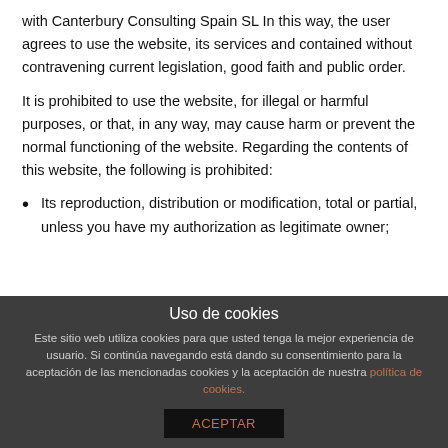with Canterbury Consulting Spain SL In this way, the user agrees to use the website, its services and contained without contravening current legislation, good faith and public order.
It is prohibited to use the website, for illegal or harmful purposes, or that, in any way, may cause harm or prevent the normal functioning of the website. Regarding the contents of this website, the following is prohibited:
Its reproduction, distribution or modification, total or partial, unless you have my authorization as legitimate owner;
Uso de cookies
Este sitio web utiliza cookies para que usted tenga la mejor experiencia de usuario. Si continúa navegando está dando su consentimiento para la aceptación de las mencionadas cookies y la aceptación de nuestra política de cookies.